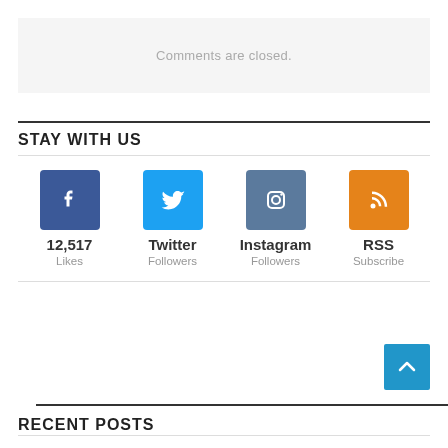Comments are closed.
STAY WITH US
[Figure (infographic): Social media follow buttons: Facebook (12,517 Likes), Twitter (Followers), Instagram (Followers), RSS (Subscribe)]
RECENT POSTS